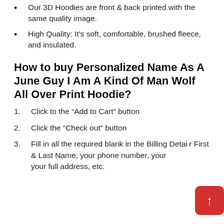Our 3D Hoodies are front & back printed with the same quality image.
High Quality: It's soft, comfortable, brushed fleece, and insulated.
How to buy Personalized Name As A June Guy I Am A Kind Of Man Wolf All Over Print Hoodie?
Click to the “Add to Cart” button
Click the “Check out” button
Fill in all the required blank in the Billing Detail, your First & Last Name, your phone number, your full address, etc.